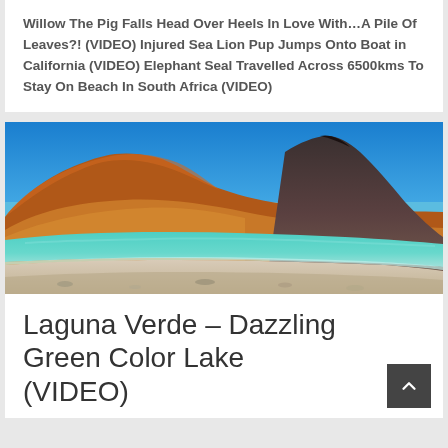Willow The Pig Falls Head Over Heels In Love With…A Pile Of Leaves?! (VIDEO) Injured Sea Lion Pup Jumps Onto Boat in California (VIDEO) Elephant Seal Travelled Across 6500kms To Stay On Beach In South Africa (VIDEO)
[Figure (photo): Landscape photo of Laguna Verde with turquoise-green water, sandy shore in the foreground, colorful red-brown and orange mountains on the left, and a dark conical volcano peak on the right under a bright blue sky.]
Laguna Verde – Dazzling Green Color Lake (VIDEO)